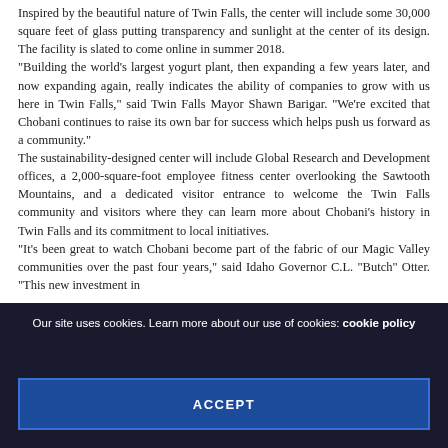Inspired by the beautiful nature of Twin Falls, the center will include some 30,000 square feet of glass putting transparency and sunlight at the center of its design. The facility is slated to come online in summer 2018. "Building the world's largest yogurt plant, then expanding a few years later, and now expanding again, really indicates the ability of companies to grow with us here in Twin Falls," said Twin Falls Mayor Shawn Barigar. "We're excited that Chobani continues to raise its own bar for success which helps push us forward as a community." The sustainability-designed center will include Global Research and Development offices, a 2,000-square-foot employee fitness center overlooking the Sawtooth Mountains, and a dedicated visitor entrance to welcome the Twin Falls community and visitors where they can learn more about Chobani's history in Twin Falls and its commitment to local initiatives. "It's been great to watch Chobani become part of the fabric of our Magic Valley communities over the past four years," said Idaho Governor C.L. "Butch" Otter. "This new investment in
Our site uses cookies. Learn more about our use of cookies: cookie policy
ACCEPT